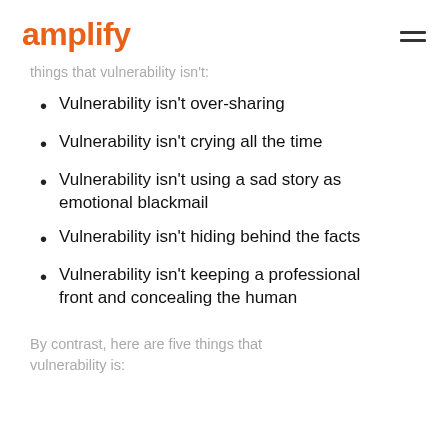amplify
things that vulnerability isn't:
Vulnerability isn't over-sharing
Vulnerability isn't crying all the time
Vulnerability isn't using a sad story as emotional blackmail
Vulnerability isn't hiding behind the facts
Vulnerability isn't keeping a professional front and concealing the human
By contrast, here are five things that vulnerability is: